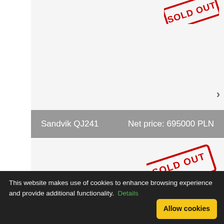[Figure (other): Partial red SOLD OUT stamp visible at top right corner of first product card]
Sandvik QJ241    Net price: 695000 PLN
[Figure (other): Red SOLD OUT stamp overlaid on second product card image area]
Terex Pegson Metrotrak    Net price: 750000 PLN
This website makes use of cookies to enhance browsing experience and provide additional functionality. Details
Allow cookies